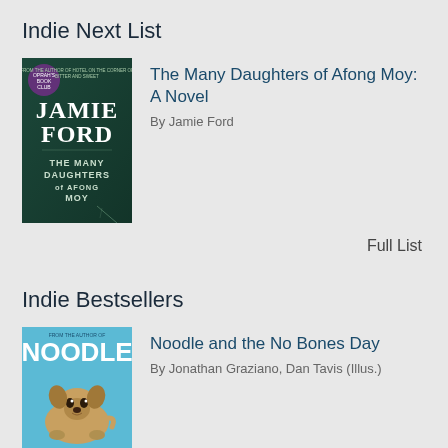Indie Next List
[Figure (illustration): Book cover of 'The Many Daughters of Afong Moy' by Jamie Ford — dark teal background with author name and title text]
The Many Daughters of Afong Moy: A Novel
By Jamie Ford
Full List
Indie Bestsellers
[Figure (illustration): Book cover of 'Noodle and the No Bones Day' — blue background with illustrated pug dog curled up]
Noodle and the No Bones Day
By Jonathan Graziano, Dan Tavis (Illus.)
Full List